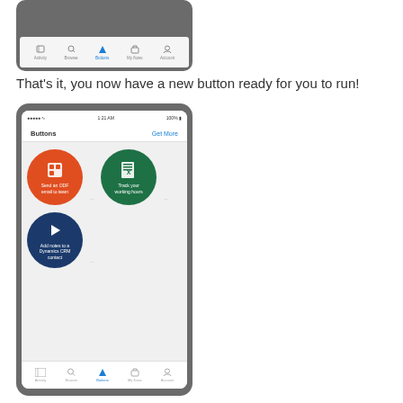[Figure (screenshot): Mobile app screenshot showing bottom navigation bar with Buttons tab selected, partial view]
That's it, you now have a new button ready for you to run!
[Figure (screenshot): Mobile app screenshot showing Buttons screen with three circular buttons: Send an ODF email to team (orange), Track your working hours (green), Add notes to a Dynamics CRM contact (navy). Bottom navigation bar visible.]